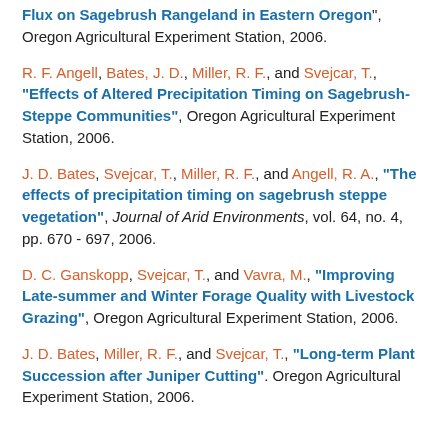Flux on Sagebrush Rangeland in Eastern Oregon", Oregon Agricultural Experiment Station, 2006.
R. F. Angell, Bates, J. D., Miller, R. F., and Svejcar, T., "Effects of Altered Precipitation Timing on Sagebrush-Steppe Communities", Oregon Agricultural Experiment Station, 2006.
J. D. Bates, Svejcar, T., Miller, R. F., and Angell, R. A., "The effects of precipitation timing on sagebrush steppe vegetation", Journal of Arid Environments, vol. 64, no. 4, pp. 670 - 697, 2006.
D. C. Ganskopp, Svejcar, T., and Vavra, M., "Improving Late-summer and Winter Forage Quality with Livestock Grazing", Oregon Agricultural Experiment Station, 2006.
J. D. Bates, Miller, R. F., and Svejcar, T., "Long-term Plant Succession after Juniper Cutting". Oregon Agricultural Experiment Station, 2006.